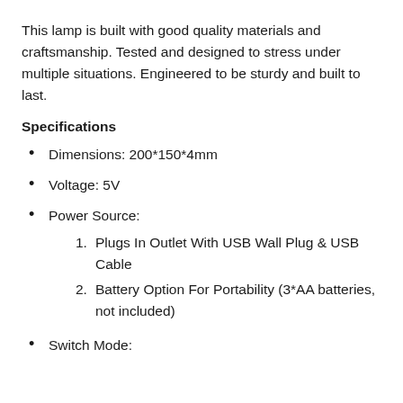This lamp is built with good quality materials and craftsmanship. Tested and designed to stress under multiple situations. Engineered to be sturdy and built to last.
Specifications
Dimensions: 200*150*4mm
Voltage: 5V
Power Source:
1. Plugs In Outlet With USB Wall Plug & USB Cable
2. Battery Option For Portability (3*AA batteries, not included)
Switch Mode: